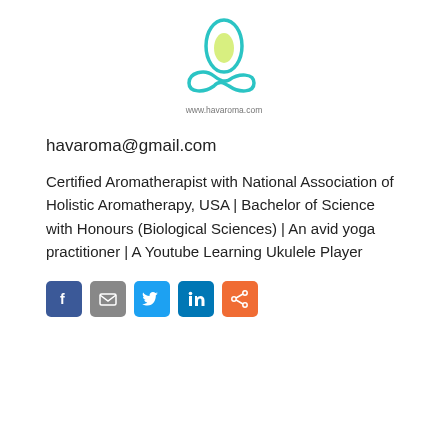[Figure (logo): Havaroma logo: teal/cyan leaf-drop shape above an infinity symbol, with text www.havaroma.com below]
havaroma@gmail.com
Certified Aromatherapist with National Association of Holistic Aromatherapy, USA | Bachelor of Science with Honours (Biological Sciences) | An avid yoga practitioner | A Youtube Learning Ukulele Player
[Figure (infographic): Row of five social media share icon buttons: Facebook (blue), Email (grey), Twitter (light blue), LinkedIn (blue), Share (orange)]